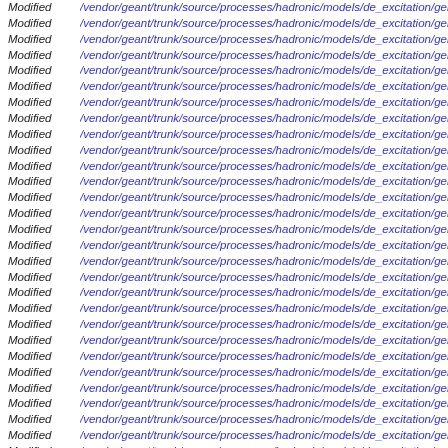Modified   /vendor/geant/trunk/source/processes/hadronic/models/de_excitation/gem_evaporation
Modified   /vendor/geant/trunk/source/processes/hadronic/models/de_excitation/gem_evaporation
Modified   /vendor/geant/trunk/source/processes/hadronic/models/de_excitation/gem_evaporation
Modified   /vendor/geant/trunk/source/processes/hadronic/models/de_excitation/gem_evaporation
Modified   /vendor/geant/trunk/source/processes/hadronic/models/de_excitation/gem_evaporation
Modified   /vendor/geant/trunk/source/processes/hadronic/models/de_excitation/gem_evaporation
Modified   /vendor/geant/trunk/source/processes/hadronic/models/de_excitation/gem_evaporation
Modified   /vendor/geant/trunk/source/processes/hadronic/models/de_excitation/gem_evaporation
Modified   /vendor/geant/trunk/source/processes/hadronic/models/de_excitation/gem_evaporation
Modified   /vendor/geant/trunk/source/processes/hadronic/models/de_excitation/gem_evaporation
Modified   /vendor/geant/trunk/source/processes/hadronic/models/de_excitation/gem_evaporation
Modified   /vendor/geant/trunk/source/processes/hadronic/models/de_excitation/gem_evaporation
Modified   /vendor/geant/trunk/source/processes/hadronic/models/de_excitation/gem_evaporation
Modified   /vendor/geant/trunk/source/processes/hadronic/models/de_excitation/gem_evaporation
Modified   /vendor/geant/trunk/source/processes/hadronic/models/de_excitation/gem_evaporation
Modified   /vendor/geant/trunk/source/processes/hadronic/models/de_excitation/gem_evaporation
Modified   /vendor/geant/trunk/source/processes/hadronic/models/de_excitation/gem_evaporation
Modified   /vendor/geant/trunk/source/processes/hadronic/models/de_excitation/gem_evaporation
Modified   /vendor/geant/trunk/source/processes/hadronic/models/de_excitation/gem_evaporation
Modified   /vendor/geant/trunk/source/processes/hadronic/models/de_excitation/gem_evaporation
Modified   /vendor/geant/trunk/source/processes/hadronic/models/de_excitation/gem_evaporation
Modified   /vendor/geant/trunk/source/processes/hadronic/models/de_excitation/gem_evaporation
Modified   /vendor/geant/trunk/source/processes/hadronic/models/de_excitation/gem_evaporation
Modified   /vendor/geant/trunk/source/processes/hadronic/models/de_excitation/gem_evaporation
Modified   /vendor/geant/trunk/source/processes/hadronic/models/de_excitation/gem_evaporation
Modified   /vendor/geant/trunk/source/processes/hadronic/models/de_excitation/gem_evaporation
Modified   /vendor/geant/trunk/source/processes/hadronic/models/de_excitation/gem_evaporation
Modified   /vendor/geant/trunk/source/processes/hadronic/models/de_excitation/gem_evaporation
Modified   /vendor/geant/trunk/source/processes/hadronic/models/de_excitation/gem_evaporation
Modified   /vendor/geant/trunk/source/processes/hadronic/models/de_excitation/gem_evaporation
Modified   /vendor/geant/trunk/source/processes/hadronic/models/de_excitation/gem_evaporation